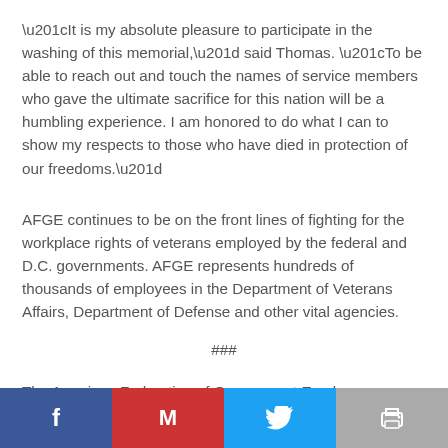“It is my absolute pleasure to participate in the washing of this memorial,” said Thomas. “To be able to reach out and touch the names of service members who gave the ultimate sacrifice for this nation will be a humbling experience. I am honored to do what I can to show my respects to those who have died in protection of our freedoms.”
AFGE continues to be on the front lines of fighting for the workplace rights of veterans employed by the federal and D.C. governments. AFGE represents hundreds of thousands of employees in the Department of Veterans Affairs, Department of Defense and other vital agencies.
###
The American Federation of Government Employees (AFGE) is the largest federal employee union representing 700,000 federal and D.C. government workers in the District of Columbia and nationwide.
[Figure (other): Social sharing bar with Facebook, Gmail, Twitter, and Print buttons]